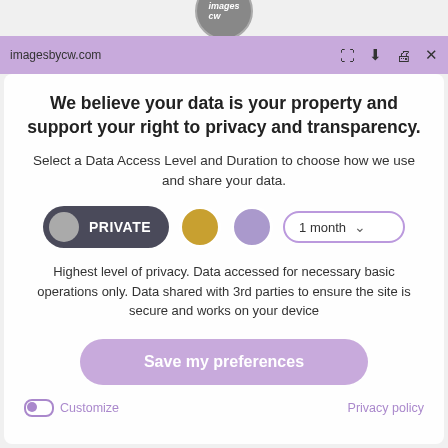imagesbycw.com
We believe your data is your property and support your right to privacy and transparency.
Select a Data Access Level and Duration to choose how we use and share your data.
PRIVATE   1 month
Highest level of privacy. Data accessed for necessary basic operations only. Data shared with 3rd parties to ensure the site is secure and works on your device
Save my preferences
Customize   Privacy policy